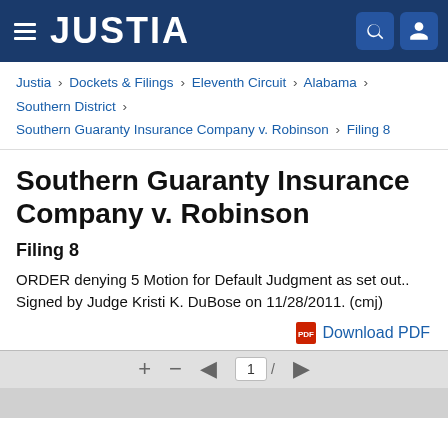JUSTIA
Justia › Dockets & Filings › Eleventh Circuit › Alabama › Southern District › Southern Guaranty Insurance Company v. Robinson › Filing 8
Southern Guaranty Insurance Company v. Robinson
Filing 8
ORDER denying 5 Motion for Default Judgment as set out.. Signed by Judge Kristi K. DuBose on 11/28/2011. (cmj)
Download PDF